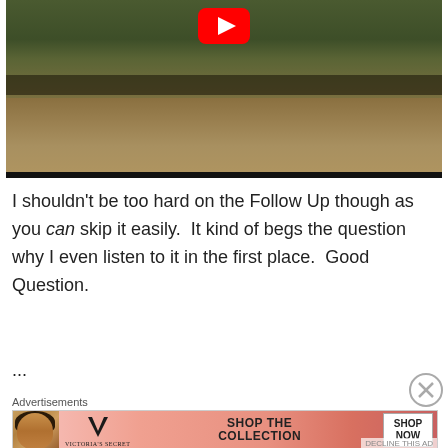[Figure (screenshot): YouTube video thumbnail showing a crowd of people in a field with green and brown landscape. A red YouTube play button icon is visible at the top center of the video.]
I shouldn't be too hard on the Follow Up though as you can skip it easily.  It kind of begs the question why I even listen to it in the first place.  Good Question.
...
[Figure (screenshot): Victoria's Secret advertisement banner showing a model with curly hair, the VS logo, text 'SHOP THE COLLECTION', and a 'SHOP NOW' button on a pink/red gradient background.]